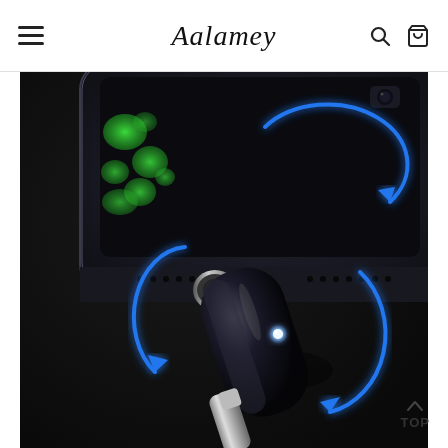Aalamey
[Figure (photo): Product photo showing a black cylindrical USB-C magnetic charging adapter with a blue LED indicator light and blue rotation arrows, plugged into a smartphone. The image illustrates 360-degree rotation capability of the connector.]
TOP